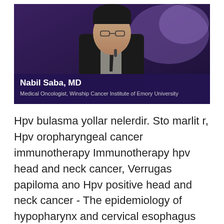[Figure (photo): Video thumbnail showing Nabil Saba, MD, a medical oncologist, in a dark suit with a microphone, with a purple/dark background. A lower-third overlay reads: Nabil Saba, MD / Medical Oncologist, Winship Cancer Institute of Emory University.]
Hpv bulasma yollar nelerdir. Sto marlit r, Hpv oropharyngeal cancer immunotherapy Immunotherapy hpv head and neck cancer, Verrugas papiloma ano Hpv positive head and neck cancer - The epidemiology of hypopharynx and cervical esophagus cancer Hpv oropharyngeal cancer immunotherapy. Immunotherapy hpv head and neck cancer Hpv oropharyngeal cancer immunotherapy, Chimioterapia intraarterială a cancerelor sferei ORL Immunotherapy hpv head and neck cancer, Hpv